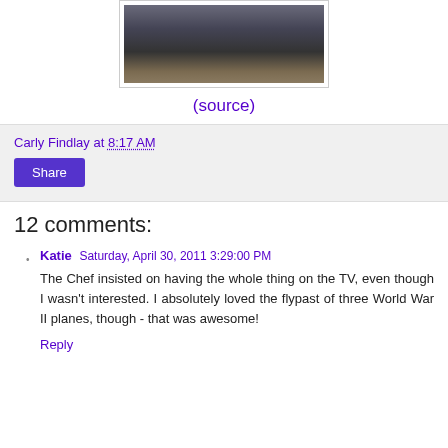[Figure (photo): A photograph showing people in formal/military attire in what appears to be a carriage or vehicle, partially visible at the top of the page.]
(source)
Carly Findlay at 8:17 AM
Share
12 comments:
Katie  Saturday, April 30, 2011 3:29:00 PM
The Chef insisted on having the whole thing on the TV, even though I wasn't interested. I absolutely loved the flypast of three World War II planes, though - that was awesome!
Reply